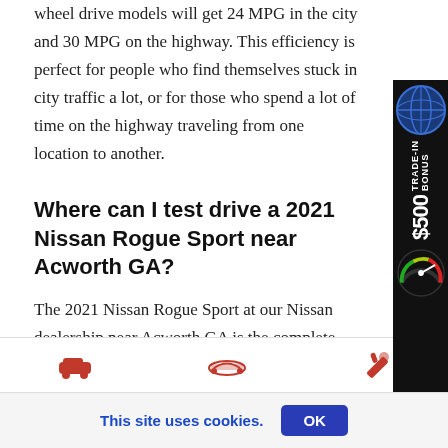wheel drive models will get 24 MPG in the city and 30 MPG on the highway. This efficiency is perfect for people who find themselves stuck in city traffic a lot, or for those who spend a lot of time on the highway traveling from one location to another.
[Figure (infographic): Side banner advertisement: $500 Trade-In Bonus with globe icon and speedometer gauge, dark background]
Where can I test drive a 2021 Nissan Rogue Sport near Acworth GA?
The 2021 Nissan Rogue Sport at our Nissan dealership near Acworth GA is the complete package. Each accessory is custom-designed and custom-fit to meet and exceed Nissan standards. At Town Center Nissan, we are proud to have the 2021 Nissan Rogue Sport available for test drives. It's a show stopper on our lot
[Figure (infographic): Bottom navigation bar with red car icons and wrench icon]
This site uses cookies.